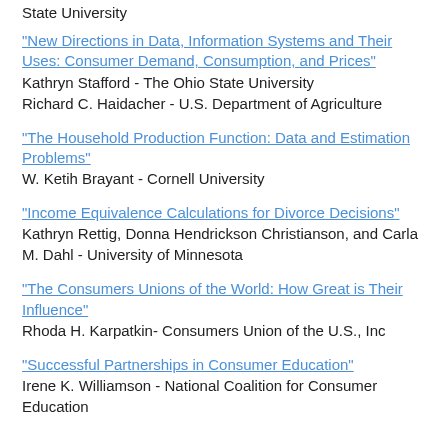State University
"New Directions in Data, Information Systems and Their Uses: Consumer Demand, Consumption, and Prices"
Kathryn Stafford - The Ohio State University
Richard C. Haidacher - U.S. Department of Agriculture
"The Household Production Function: Data and Estimation Problems"
W. Ketih Brayant - Cornell University
"Income Equivalence Calculations for Divorce Decisions"
Kathryn Rettig, Donna Hendrickson Christianson, and Carla M. Dahl - University of Minnesota
"The Consumers Unions of the World: How Great is Their Influence"
Rhoda H. Karpatkin- Consumers Union of the U.S., Inc
"Successful Partnerships in Consumer Education"
Irene K. Williamson - National Coalition for Consumer Education